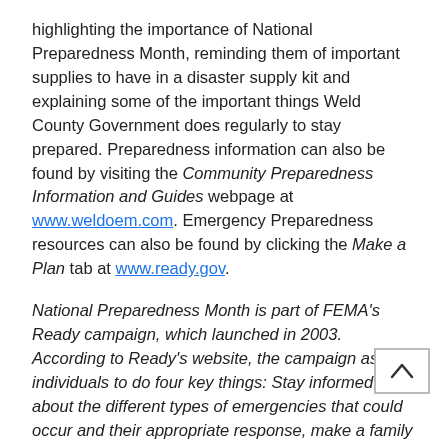highlighting the importance of National Preparedness Month, reminding them of important supplies to have in a disaster supply kit and explaining some of the important things Weld County Government does regularly to stay prepared. Preparedness information can also be found by visiting the Community Preparedness Information and Guides webpage at www.weldoem.com. Emergency Preparedness resources can also be found by clicking the Make a Plan tab at www.ready.gov.
National Preparedness Month is part of FEMA's Ready campaign, which launched in 2003. According to Ready's website, the campaign asks individuals to do four key things: Stay informed about the different types of emergencies that could occur and their appropriate response, make a family emergency plan, build an emergency supply kit and get involved in their communities by taking action to prepare for